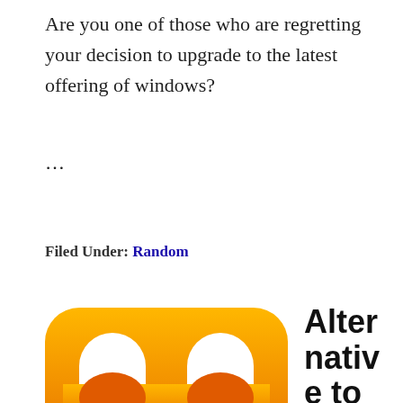Are you one of those who are regretting your decision to upgrade to the latest offering of windows?
…
Filed Under: Random
[Figure (logo): Orange app icon with white rounded-rectangle 'M' shape, gradient from orange-yellow at top to deep orange at bottom]
Alternative to iTunes Syncing